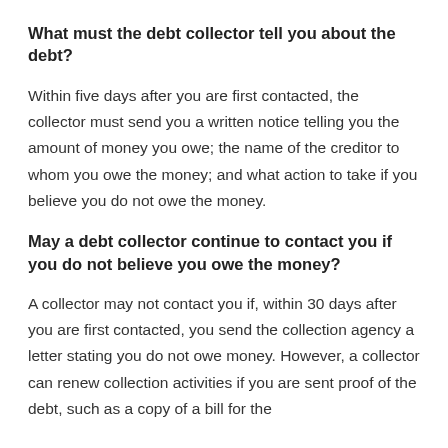What must the debt collector tell you about the debt?
Within five days after you are first contacted, the collector must send you a written notice telling you the amount of money you owe; the name of the creditor to whom you owe the money; and what action to take if you believe you do not owe the money.
May a debt collector continue to contact you if you do not believe you owe the money?
A collector may not contact you if, within 30 days after you are first contacted, you send the collection agency a letter stating you do not owe money. However, a collector can renew collection activities if you are sent proof of the debt, such as a copy of a bill for the